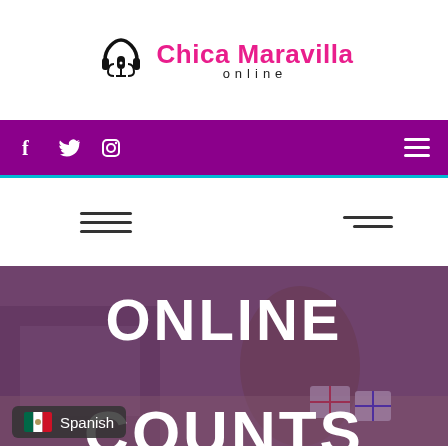Chica Maravilla online
[Figure (screenshot): Website screenshot of Chica Maravilla Online. Purple navigation bar with social media icons (Facebook, Twitter, Instagram) and hamburger menu. Below is a hero image showing a dark-overlaid workspace photo with bold white text 'ONLINE COUNTS' and a Spanish language badge with Mexican flag.]